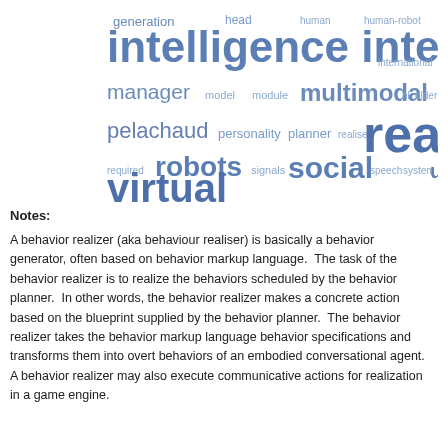[Figure (infographic): Word cloud with terms related to behavior realizer, social robots, and multimodal interaction. Words in varying blue shades and sizes. Largest words: realizer, intelligence, interaction, virtual, social, robots, user. Medium: multimodal, pelachaud, manager, generation. Smaller: head, human, human-robot, international, model, module, nl, older, personality, planner, realiser, required, signals, speech, system.]
Notes:
A behavior realizer (aka behaviour realiser) is basically a behavior generator, often based on behavior markup language.  The task of the behavior realizer is to realize the behaviors scheduled by the behavior planner.  In other words, the behavior realizer makes a concrete action based on the blueprint supplied by the behavior planner.  The behavior realizer takes the behavior markup language behavior specifications and transforms them into overt behaviors of an embodied conversational agent.  A behavior realizer may also execute communicative actions for realization in a game engine.